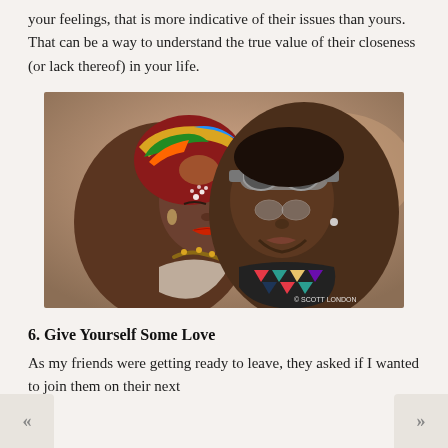your feelings, that is more indicative of their issues than yours. That can be a way to understand the true value of their closeness (or lack thereof) in your life.
[Figure (photo): A couple about to kiss. The woman on the left wears a colorful kente-style head wrap and beaded jewelry; the man on the right wears aviator goggles on his forehead and a colorful geometric-patterned bandana. Photo credit: © Scott London.]
6. Give Yourself Some Love
As my friends were getting ready to leave, they asked if I wanted to join them on their next